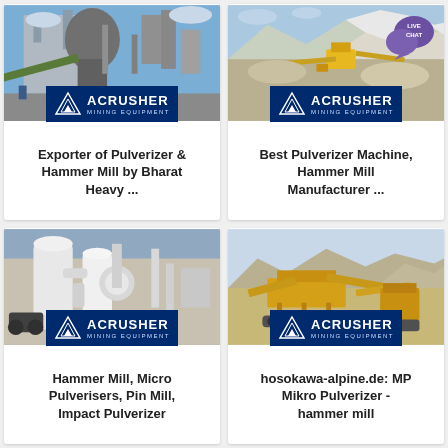[Figure (photo): Industrial pulverizer/mill equipment at a plant site with ACRUSHER Mining Equipment badge overlay]
Exporter of Pulverizer & Hammer Mill by Bharat Heavy ...
[Figure (photo): Open pit mining site with yellow machinery and ACRUSHER Mining Equipment badge, with LIVE CHAT bubble overlay]
Best Pulverizer Machine, Hammer Mill Manufacturer ...
[Figure (photo): White industrial mill/pulverizer equipment at industrial facility with ACRUSHER Mining Equipment badge]
Hammer Mill, Micro Pulverisers, Pin Mill, Impact Pulverizer
[Figure (photo): Yellow mining/crushing equipment in arid landscape with ACRUSHER Mining Equipment badge]
hosokawa-alpine.de: MP Mikro Pulverizer - hammer mill